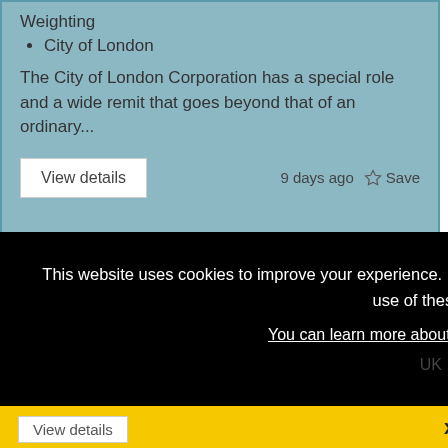Weighting
City of London
The City of London Corporation has a special role and a wide remit that goes beyond that of an ordinary...
9 days ago
Save
This website uses cookies to improve your experience. By continuing to browse this site you are agreeing to our use of these cookies.
You can learn more about the cookies we use here.
x